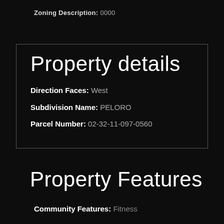Zoning Description: 0000
Property details
Direction Faces: West
Subdivision Name: PELORO
Parcel Number: 02-32-11-097-0560
Property Features
Community Features: Fitness